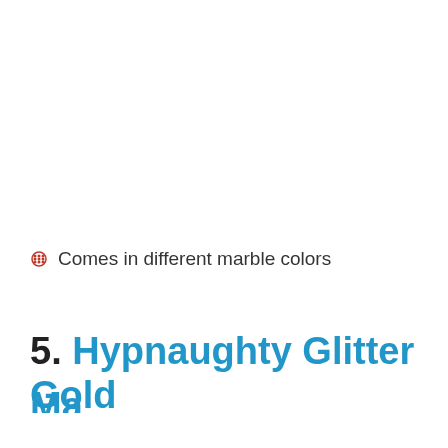Comes in different marble colors
5. Hypnaughty Glitter Gold